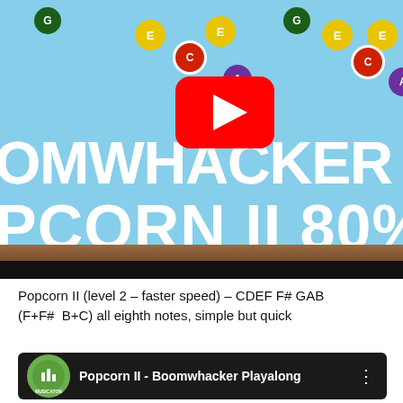[Figure (screenshot): YouTube video thumbnail showing Boomwhacker Playalong - Popcorn II at 80% speed, with colored boomwhacker balls (G, E, C, A, E, G, E, C, A) floating above a wooden table surface, with large white text reading 'BOOMWHACKER PLAYALONG' and 'POPCORN II 80%', and a YouTube play button in the center.]
Popcorn II (level 2 – faster speed) – CDEF F# GAB (F+F#  B+C) all eighth notes, simple but quick
[Figure (screenshot): YouTube video card showing Musicaton channel logo and title 'Popcorn II - Boomwhacker Playalong' on dark background with three-dot menu icon.]